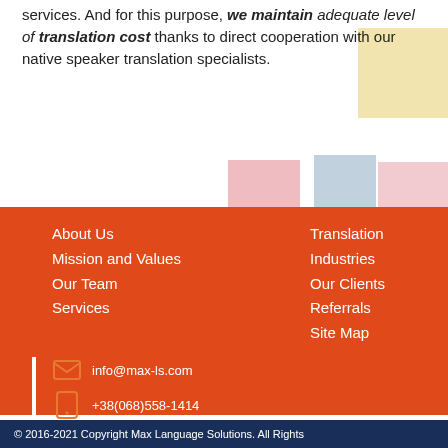services. And for this purpose, we maintain adequate level of translation cost thanks to direct cooperation with our native speaker translation specialists.
About Us
Mission and Values
Our Team
Services
Translation Industries
Our Clients
Referrals
Site Map
info@max-ls.com
+38(068)558-1414
Max.Lan.Solutions
Get a Free Quote
[Figure (logo): Facebook logo icon white f on blue background]
© 2016-2021 Copyright Max Language Solutions. All Rights